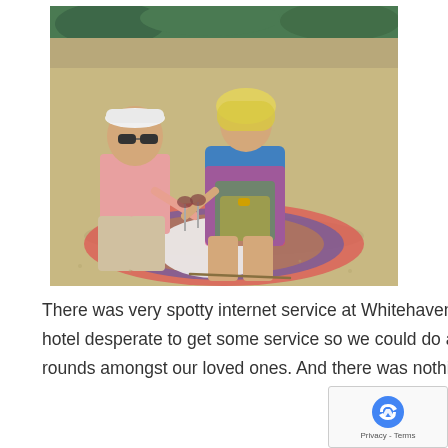[Figure (photo): A couple sitting on a beach (Whitehaven Beach) on colorful blankets in the sand. The man on the left wears a pink shirt, white cap, and sunglasses. The woman on the right has blonde hair and wears a colorful patterned dress. They are clinking glasses/drinks together. Green vegetation is visible in the background.]
There was very spotty internet service at Whitehaven Beach and on the boat, and as we rushed back to our hotel desperate to get some service so we could do a bit of damage control, the post was already making the rounds amongst our loved ones. And there was nothing we could do about it.